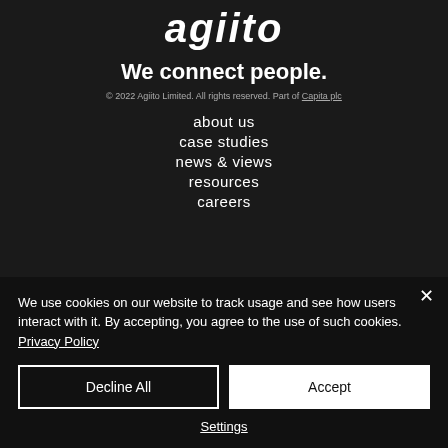[Figure (logo): Agiito company logo in white italic bold text on dark background]
We connect people.
© 2022 Agiito Limited. All rights reserved. Part of Capita plc
about us
case studies
news & views
resources
careers
We use cookies on our website to track usage and see how users interact with it. By accepting, you agree to the use of such cookies. Privacy Policy
Decline All
Accept
Settings